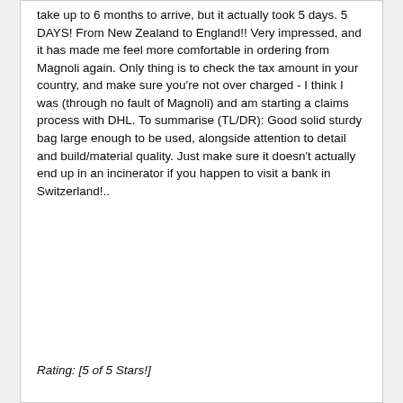take up to 6 months to arrive, but it actually took 5 days. 5 DAYS! From New Zealand to England!! Very impressed, and it has made me feel more comfortable in ordering from Magnoli again. Only thing is to check the tax amount in your country, and make sure you're not over charged - I think I was (through no fault of Magnoli) and am starting a claims process with DHL. To summarise (TL/DR): Good solid sturdy bag large enough to be used, alongside attention to detail and build/material quality. Just make sure it doesn't actually end up in an incinerator if you happen to visit a bank in Switzerland!..
Rating: [5 of 5 Stars!]